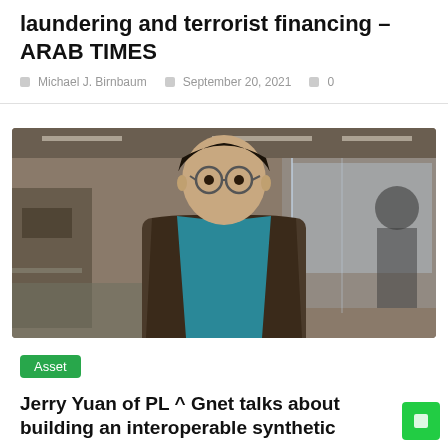laundering and terrorist financing – ARAB TIMES
Michael J. Birnbaum   September 20, 2021   0
[Figure (photo): A man wearing glasses and a teal shirt under a dark blazer stands in a modern office environment, looking at the camera.]
Asset
Jerry Yuan of PL ^ Gnet talks about building an interoperable synthetic